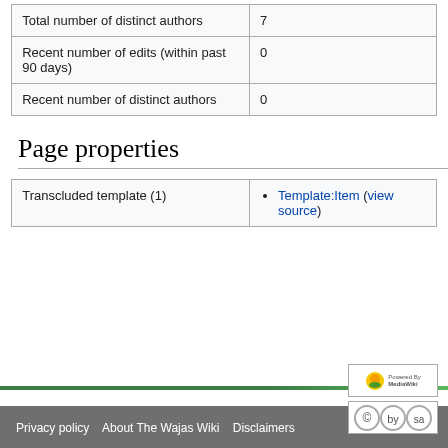|  |  |
| --- | --- |
| Total number of distinct authors | 7 |
| Recent number of edits (within past 90 days) | 0 |
| Recent number of distinct authors | 0 |
Page properties
|  |  |
| --- | --- |
| Transcluded template (1) | Template:Item (view source) |
Privacy policy   About The Wajas Wiki   Disclaimers